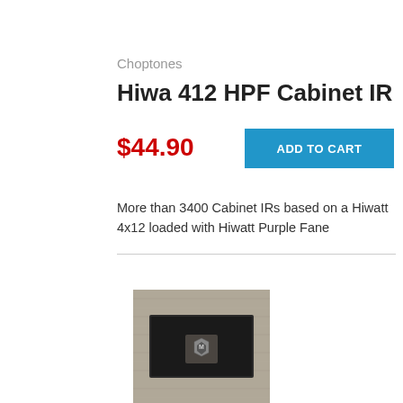Choptones
Hiwa 412 HPF Cabinet IR
$44.90
ADD TO CART
More than 3400 Cabinet IRs based on a Hiwatt 4x12 loaded with Hiwatt Purple Fane
[Figure (photo): Bottom portion of a Hiwatt-style 4x12 guitar cabinet with a beige/gray tolex covering and black front panel, showing a logo badge]